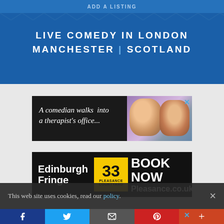ADD A LISTING
LIVE COMEDY IN LONDON
MANCHESTER | SCOTLAND
[Figure (advertisement): Ad: A comedian walks into a therapist's office... with photo of two people]
[Figure (advertisement): Edinburgh Fringe 33 Pleasance Courtyard - BOOK NOW Pleasance.co.uk]
[Figure (advertisement): Ad featuring Josie Long and Mark Watson]
This web site uses cookies, read our policy.